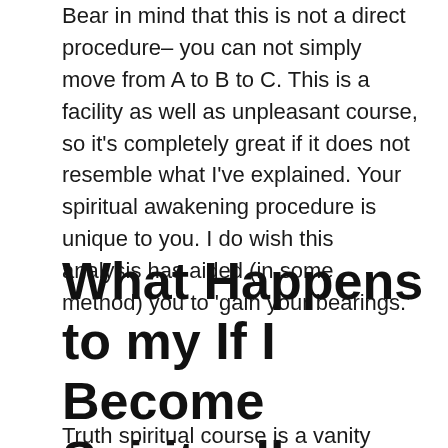Bear in mind that this is not a direct procedure– you can not simply move from A to B to C. This is a facility as well as unpleasant course, so it's completely great if it does not resemble what I've explained. Your spiritual awakening procedure is unique to you. I do wish this analysis has aided (in some method) you to 'gain your bearings.'
What Happens to my If I Become Spiritually Awake
Truth spiritual course is a vanity peeler, and